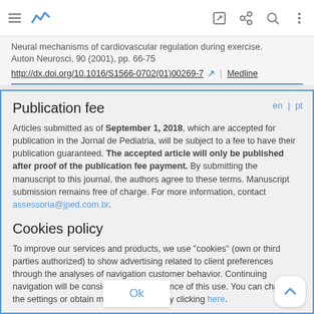Neural mechanisms of cardiovascular regulation during exercise. Auton Neurosci, 90 (2001), pp. 66-75 | http://dx.doi.org/10.1016/S1566-0702(01)00269-7 | Medline
Publication fee
Articles submitted as of September 1, 2018, which are accepted for publication in the Jornal de Pediatria, will be subject to a fee to have their publication guaranteed. The accepted article will only be published after proof of the publication fee payment. By submitting the manuscript to this journal, the authors agree to these terms. Manuscript submission remains free of charge. For more information, contact assessoria@jped.com.br.
Cookies policy
To improve our services and products, we use "cookies" (own or third parties authorized) to show advertising related to client preferences through the analyses of navigation customer behavior. Continuing navigation will be considered as acceptance of this use. You can change the settings or obtain more information by clicking here.